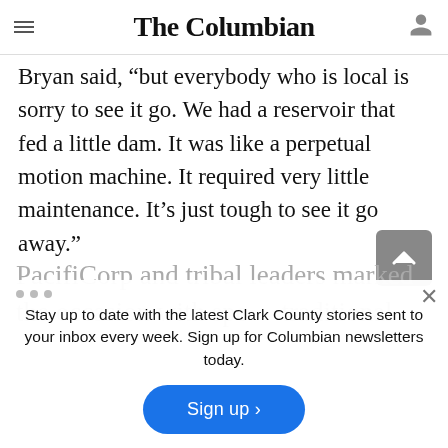The Columbian
Bryan said, “but everybody who is local is sorry to see it go. We had a reservoir that fed a little dam. It was like a perpetual motion machine. It required very little maintenance. It’s just tough to see it go away.”
Stay up to date with the latest Clark County stories sent to your inbox every week. Sign up for Columbian newsletters today.
Sign up ›